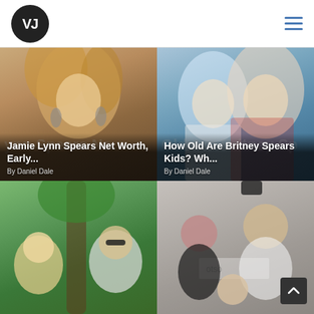VJ logo and navigation menu
[Figure (photo): Photo of Jamie Lynn Spears, blonde woman with large earrings]
Jamie Lynn Spears Net Worth, Early...
By Daniel Dale
[Figure (photo): Photo of Britney Spears with kids, two blonde people]
How Old Are Britney Spears Kids? Wh...
By Daniel Dale
[Figure (photo): Photo of a couple outdoors near a tree, man with sunglasses]
[Figure (photo): Photo of a family group at an event with a logo backdrop]